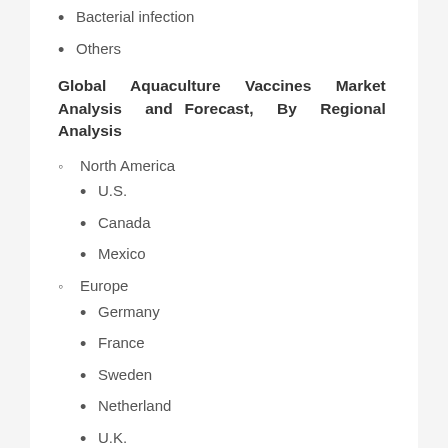Bacterial Infection
Others
Global Aquaculture Vaccines Market Analysis and Forecast, By Regional Analysis
North America
U.S.
Canada
Mexico
Europe
Germany
France
Sweden
Netherland
U.K.
Italy
Spain